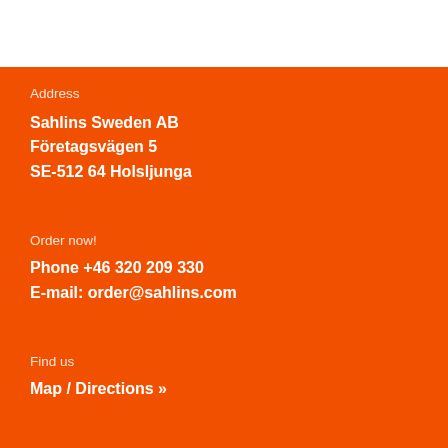Address
Sahlins Sweden AB
Företagsvägen 5
SE-512 64 Holsljunga
Order now!
Phone +46 320 209 330
E-mail: order@sahlins.com
Find us
Map / Directions »